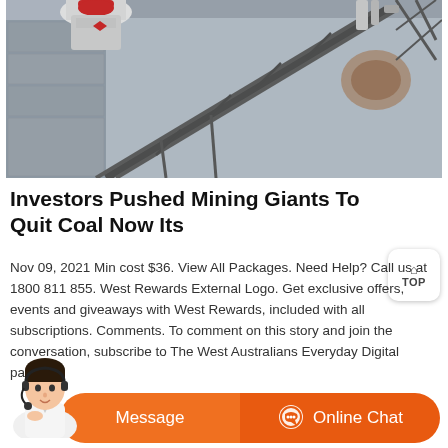[Figure (photo): Industrial mining facility with conveyor belts, steel scaffolding, and a cone crusher machinery. Concrete walls and metal framework visible in an indoor/outdoor mining setting.]
Investors Pushed Mining Giants To Quit Coal Now Its
Nov 09, 2021 Min cost $36. View All Packages. Need Help? Call us at 1800 811 855. West Rewards External Logo. Get exclusive offers, events and giveaways with West Rewards, included with all subscriptions. Comments. To comment on this story and join the conversation, subscribe to The West Australians Everyday Digital package.
[Figure (screenshot): Orange chat bar at the bottom with a customer service avatar, a Message button on the left, and an Online Chat button with a chat icon on the right.]